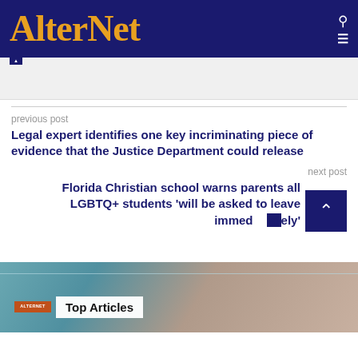AlterNet
previous post
Legal expert identifies one key incriminating piece of evidence that the Justice Department could release
next post
Florida Christian school warns parents all LGBTQ+ students 'will be asked to leave immediately'
[Figure (photo): Background photo of a person (blonde hair) with teal/blue tones, overlaid with 'Top Articles' banner with AlterNet logo badge]